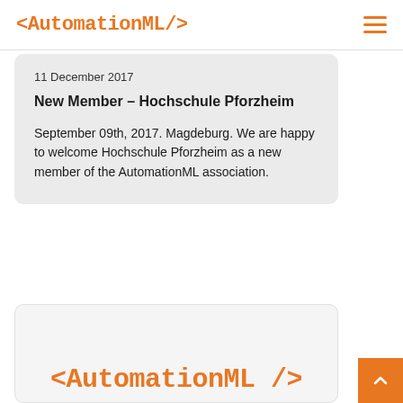<AutomationML/>
11 December 2017
New Member – Hochschule Pforzheim
September 09th, 2017. Magdeburg. We are happy to welcome Hochschule Pforzheim as a new member of the AutomationML association.
[Figure (logo): <AutomationML/> logo in orange monospace font]